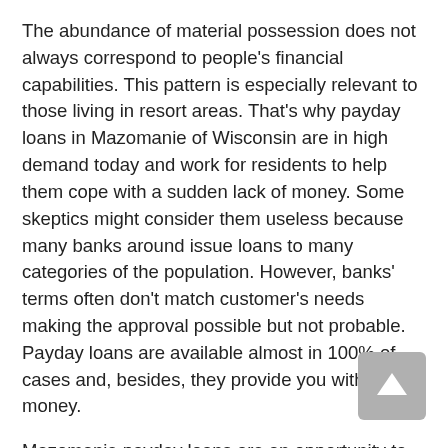The abundance of material possession does not always correspond to people's financial capabilities. This pattern is especially relevant to those living in resort areas. That's why payday loans in Mazomanie of Wisconsin are in high demand today and work for residents to help them cope with a sudden lack of money. Some skeptics might consider them useless because many banks around issue loans to many categories of the population. However, banks' terms often don't match customer's needs making the approval possible but not probable. Payday loans are available almost in 100% of cases and, besides, they provide you with instant money.
Mazomanie payday loans are an opportunity to get cash in advance for a short term, and it is commonly due on your next payday. One can get them in storefront lenders or online. They are notorious for high cost but remarkable for loyal requirements for credit rating. It means that people with bad credit can still count on financial help.